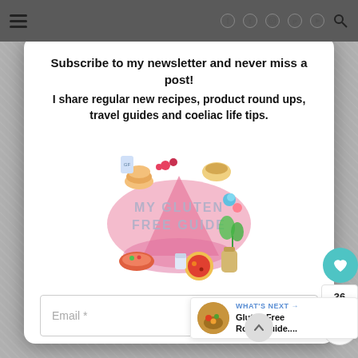Navigation bar with hamburger menu, social icons (Facebook, Twitter, Instagram, Pinterest, YouTube), and search icon
Subscribe to my newsletter and never miss a post!
I share regular new recipes, product round ups, travel guides and coeliac life tips.
[Figure (logo): My Gluten Free Guide logo with illustrated food items surrounding a pink watercolor triangle shape]
Email *
I Agree
Your email address will be shared with My Glu...
WHAT'S NEXT → Gluten Free Rome Guide....